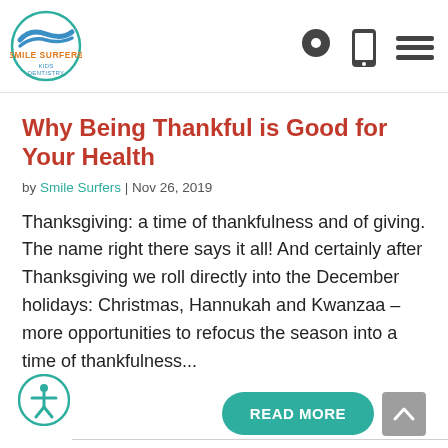[Figure (logo): Smile Surfers Kids Dentistry logo with wave/circle design]
Why Being Thankful is Good for Your Health
by Smile Surfers | Nov 26, 2019
Thanksgiving: a time of thankfulness and of giving. The name right there says it all! And certainly after Thanksgiving we roll directly into the December holidays: Christmas, Hannukah and Kwanzaa – more opportunities to refocus the season into a time of thankfulness...